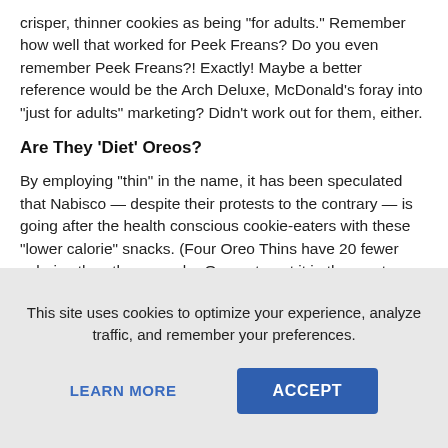crisper, thinner cookies as being "for adults." Remember how well that worked for Peek Freans? Do you even remember Peek Freans?! Exactly! Maybe a better reference would be the Arch Deluxe, McDonald's foray into "just for adults" marketing? Didn't work out for them, either.
Are They 'Diet' Oreos?
By employing "thin" in the name, it has been speculated that Nabisco — despite their protests to the contrary — is going after the health conscious cookie-eaters with these "lower calorie" snacks. (Four Oreo Thins have 20 fewer calories than three regular Oreos, to put it in the most confusing way possible.)
Get Less But Pay the Same
But let's face it, if you really consider yourself "health conscious," your diet probably consists of "no Oreos," right? The real reason
This site uses cookies to optimize your experience, analyze traffic, and remember your preferences.
LEARN MORE
ACCEPT